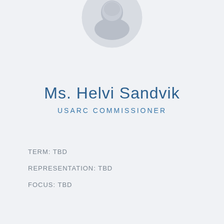[Figure (photo): Circular cropped grayscale portrait photo of Ms. Helvi Sandvik, partially visible at the top of the page]
Ms. Helvi Sandvik
USARC COMMISSIONER
TERM: TBD
REPRESENTATION: TBD
FOCUS: TBD